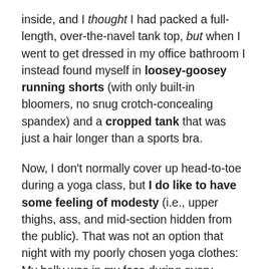inside, and I thought I had packed a full-length, over-the-navel tank top, but when I went to get dressed in my office bathroom I instead found myself in loosey-goosey running shorts (with only built-in bloomers, no snug crotch-concealing spandex) and a cropped tank that was just a hair longer than a sports bra.
Now, I don't normally cover up head-to-toe during a yoga class, but I do like to have some feeling of modesty (i.e., upper thighs, ass, and mid-section hidden from the public). That was not an option that night with my poorly chosen yoga clothes: My belly was in my face during every forward bend; every inversion, low lunge, and downdog was an opportunity for my sacred “bathing suit area” to say hello to the world.
At first, I was really uncomfortable. It’s one thing for me